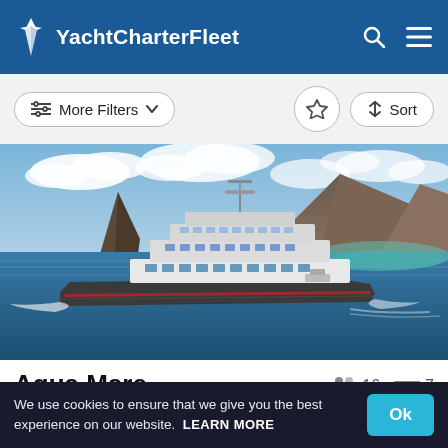YachtCharterFleet
More Filters  Sort
[Figure (photo): Luxury motor yacht Aqua Mare cruising on blue water with dramatic rocky island formations in the background under a partly cloudy sky.]
Aqua Mare
50m · CRN  16 guests  7 cabins
We use cookies to ensure that we give you the best experience on our website.  LEARN MORE  Ok